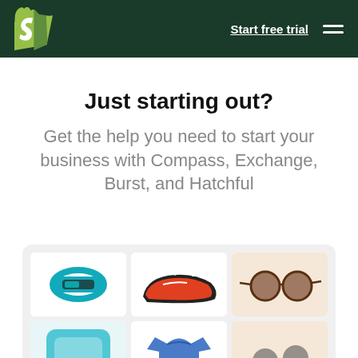Shopify — Start free trial
Just starting out?
Get the help you need to start your business with Compass, Exchange, Burst, and Hatchful
[Figure (photo): A product grid showing various e-commerce items: a fitness tracker wristband, a sneaker/shoe, sunglasses, a blue sweatshirt, and other products arranged in a 3-column grid layout]